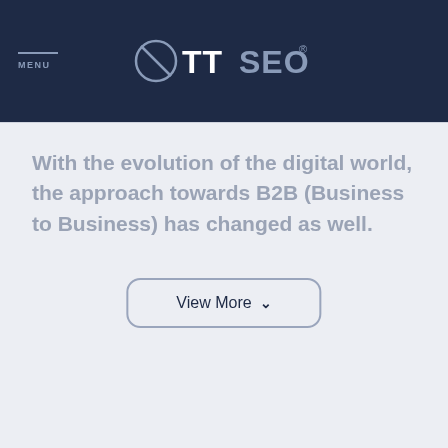ØTTSEO®
With the evolution of the digital world, the approach towards B2B (Business to Business) has changed as well.
View More ∨